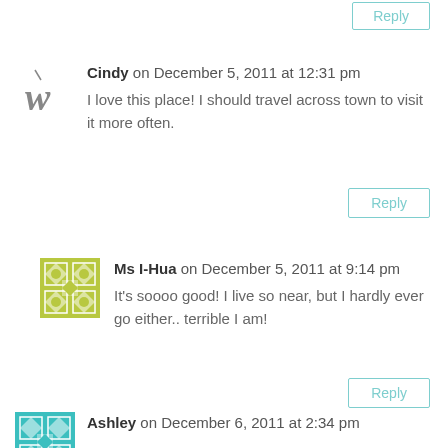Cindy on December 5, 2011 at 12:31 pm — I love this place! I should travel across town to visit it more often.
Ms I-Hua on December 5, 2011 at 9:14 pm — It's soooo good! I live so near, but I hardly ever go either.. terrible I am!
Ashley on December 6, 2011 at 2:34 pm